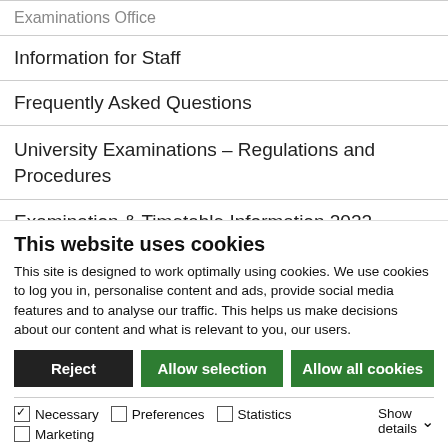Examinations Office
Information for Staff
Frequently Asked Questions
University Examinations – Regulations and Procedures
Examination & Timetable Information 2022
Exam Mark Calculator
Examination Result Information
This website uses cookies
This site is designed to work optimally using cookies. We use cookies to log you in, personalise content and ads, provide social media features and to analyse our traffic. This helps us make decisions about our content and what is relevant to you, our users.
Reject | Allow selection | Allow all cookies
✓ Necessary  ☐ Preferences  ☐ Statistics  ☐ Marketing  Show details ▾